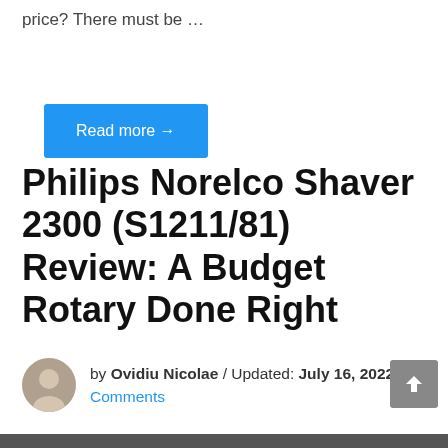price? There must be ...
Read more →
Philips Norelco Shaver 2300 (S1211/81) Review: A Budget Rotary Done Right
by Ovidiu Nicolae / Updated: July 16, 2022 / 8 Comments